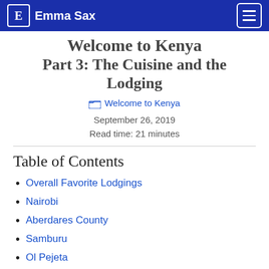Emma Sax
Welcome to Kenya Part 3: The Cuisine and the Lodging
Welcome to Kenya
September 26, 2019
Read time: 21 minutes
Table of Contents
Overall Favorite Lodgings
Nairobi
Aberdares County
Samburu
Ol Pejeta
Lake Naivasha
Maasai Mara